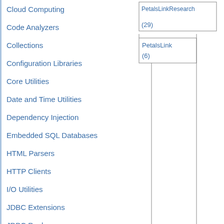Cloud Computing
Code Analyzers
Collections
Configuration Libraries
Core Utilities
Date and Time Utilities
Dependency Injection
Embedded SQL Databases
HTML Parsers
HTTP Clients
I/O Utilities
JDBC Extensions
JDBC Pools
JPA Implementations
JSON Libraries
JVM Languages
Logging Frameworks
Logging Bridges
Mail Clients
[Figure (other): Tree diagram showing PetalsLinkResearch (29) and PetalsLink (6) nodes with connecting lines in a hierarchical layout]